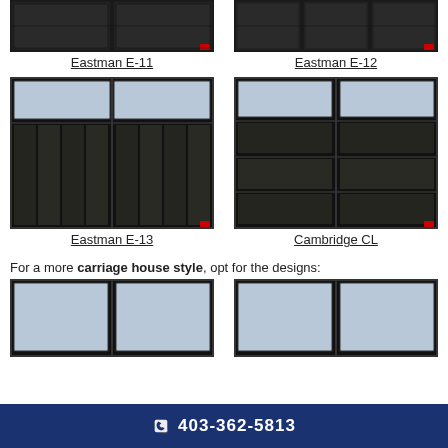[Figure (photo): Eastman E-11 garage door - dark color, two panel sections visible at top]
[Figure (photo): Eastman E-12 garage door - dark color, three panel sections visible at top]
Eastman E-11
Eastman E-12
[Figure (photo): Eastman E-13 garage door - dark color with glass panels at top, vertical slat design]
[Figure (photo): Cambridge CL garage door - dark color with glass panels at top, horizontal panel design]
Eastman E-13
Cambridge CL
For a more carriage house style, opt for the designs:
[Figure (photo): Carriage house style garage door - dark with large glass panels, two sections]
[Figure (photo): Carriage house style garage door - dark with large glass panels, two sections]
403-362-5813